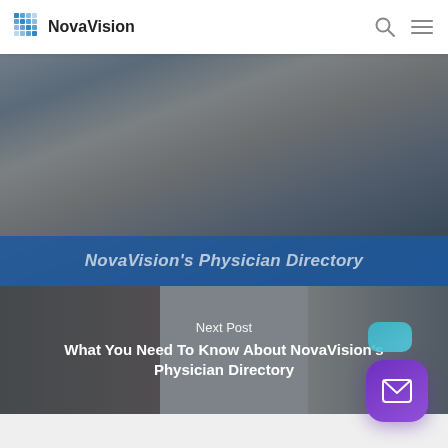[Figure (screenshot): NovaVision website navigation bar with logo (blue dot grid + NovaVision text), search icon, and hamburger menu icon]
[Figure (photo): Close-up blurred medical/ophthalmology image of a person's face near equipment, with blue overlay bar at bottom reading NovaVision's Physician Directory]
Next Post
What You Need To Know About NovaVision's Physician Directory
[Figure (photo): Two people (patient and doctor in white coat with tie) using ophthalmology examination equipment, with dark overlay]
[Figure (screenshot): Purple rounded chat/email button with envelope icon in bottom-right corner, with teal/blue bubble above it]